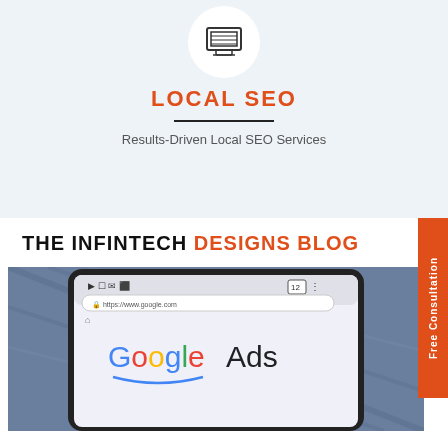[Figure (illustration): Computer/server icon inside a white circle on a light blue background]
LOCAL SEO
Results-Driven Local SEO Services
THE INFINTECH DESIGNS BLOG
[Figure (photo): Photo of a smartphone showing Google Ads on screen, resting on denim jeans]
Free Consultation